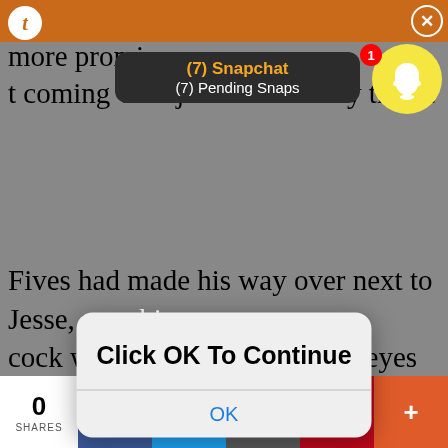he sounds of your gags had become more prominent coming with just about every thrust
[Figure (screenshot): Snapchat notification bar showing '(7) Snapchat' and '(7) Pending Snaps' with Snapchat ghost icon and badge showing 1]
Fives had made his way over next to Jesse, now his cock was in front of you, your eyes trained on him and Jesse, and Rex had himself in his own hands again, jerking himself.
[Figure (screenshot): Modal dialog overlay with text 'Click OK To Continue' and an OK button]
"Holy shit, fuck that slutty mouth, get ready."
You raised your eyebrows looking at Jesse's face of euphoria, his eyebrows were furrowed together, his hand gripped your hair tighter moving your head along his dick, guiding you at an obnoxious pace, until finally, you felt his cock throb in your mouth, his release spilled into the back of your throat, coating it co
0 SHARES | Facebook | Twitter | Email | Pinterest | More